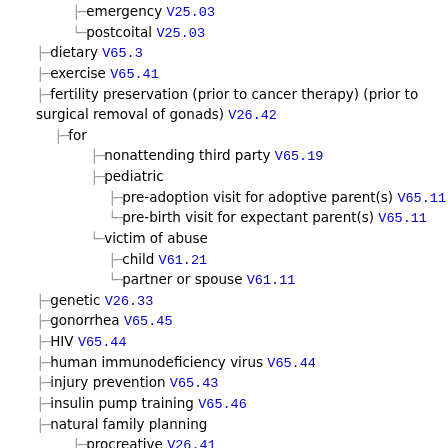emergency V25.03
postcoital V25.03
dietary V65.3
exercise V65.41
fertility preservation (prior to cancer therapy) (prior to surgical removal of gonads) V26.42
for
nonattending third party V65.19
pediatric
pre-adoption visit for adoptive parent(s) V65.11
pre-birth visit for expectant parent(s) V65.11
victim of abuse
child V61.21
partner or spouse V61.11
genetic V26.33
gonorrhea V65.45
HIV V65.44
human immunodeficiency virus V65.44
injury prevention V65.43
insulin pump training V65.46
natural family planning
procreative V26.41
to avoid pregnancy V25.04